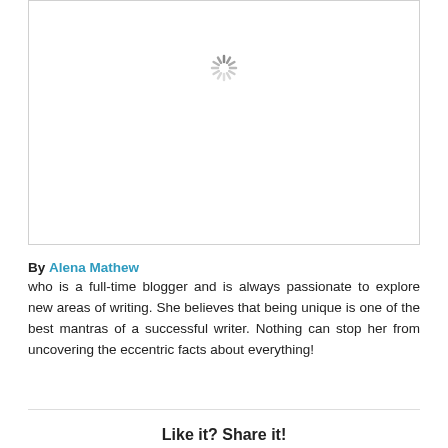[Figure (other): Loading placeholder box with a spinning loader icon in the upper center area]
By Alena Mathew who is a full-time blogger and is always passionate to explore new areas of writing. She believes that being unique is one of the best mantras of a successful writer. Nothing can stop her from uncovering the eccentric facts about everything!
Like it? Share it!